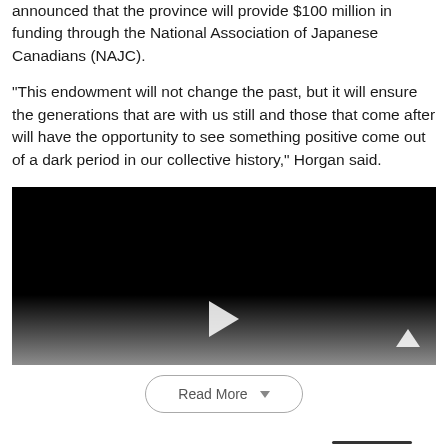announced that the province will provide $100 million in funding through the National Association of Japanese Canadians (NAJC).
“This endowment will not change the past, but it will ensure the generations that are with us still and those that come after will have the opportunity to see something positive come out of a dark period in our collective history,” Horgan said.
[Figure (other): Video player with black background, gradient at bottom, play button in center, scroll-up arrow at bottom right]